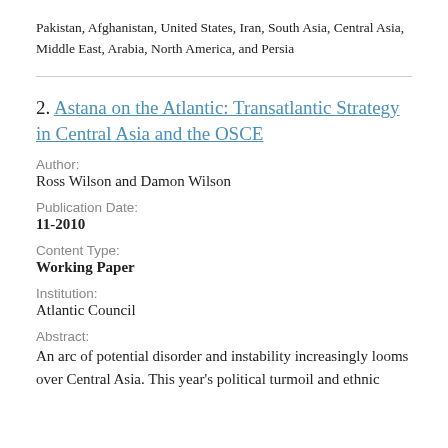Pakistan, Afghanistan, United States, Iran, South Asia, Central Asia, Middle East, Arabia, North America, and Persia
2. Astana on the Atlantic: Transatlantic Strategy in Central Asia and the OSCE
Author:
Ross Wilson and Damon Wilson
Publication Date:
11-2010
Content Type:
Working Paper
Institution:
Atlantic Council
Abstract:
An arc of potential disorder and instability increasingly looms over Central Asia. This year's political turmoil and ethnic